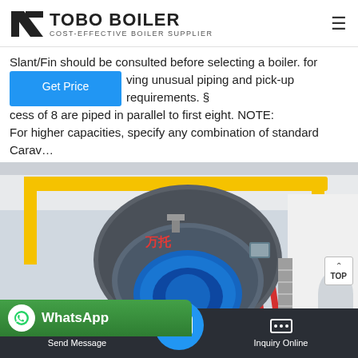[Figure (logo): Tobo Boiler logo with black geometric icon and bold text 'TOBO BOILER', subtitle 'COST-EFFECTIVE BOILER SUPPLIER']
Slant/Fin should be consulted before selecting a boiler. for having unusual piping and pick-up requirements. § cess of 8 are piped in parallel to first eight. NOTE: For higher capacities, specify any combination of standard Carav…
[Figure (photo): Industrial boiler installation photo showing a large cylindrical blue/grey boiler with yellow overhead crane structure, red pipes, and industrial ceiling in background. Chinese characters visible on boiler front.]
WhatsApp
Send Message
Inquiry Online